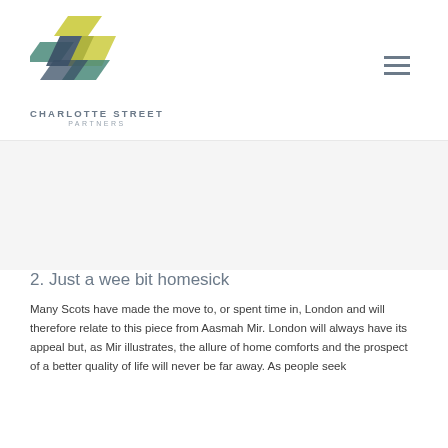[Figure (logo): Charlotte Street Partners logo — geometric overlapping parallelogram shapes in yellow-green, teal and dark slate blue, with text CHARLOTTE STREET PARTNERS below]
2. Just a wee bit homesick
Many Scots have made the move to, or spent time in, London and will therefore relate to this piece from Aasmah Mir. London will always have its appeal but, as Mir illustrates, the allure of home comforts and the prospect of a better quality of life will never be far away. As people seek